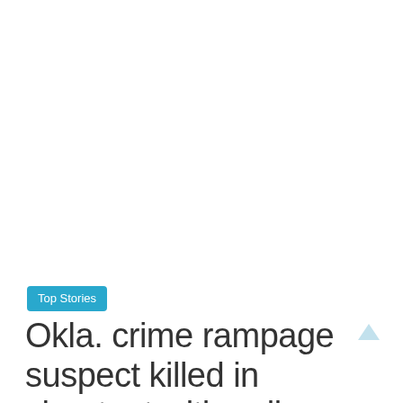Top Stories
Okla. crime rampage suspect killed in shootout with police